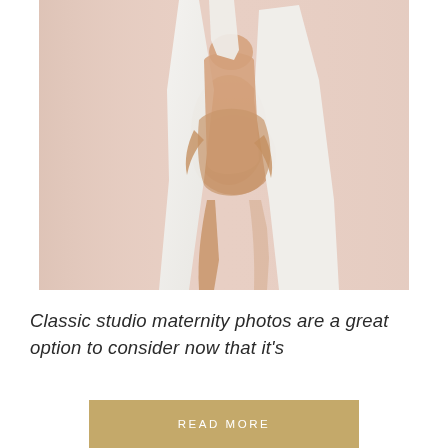[Figure (photo): A pregnant woman holding a white fabric/drape around her body, standing against a soft blush/dusty rose painted wall. Studio maternity photo, minimal and elegant.]
Classic studio maternity photos are a great option to consider now that it's
READ MORE